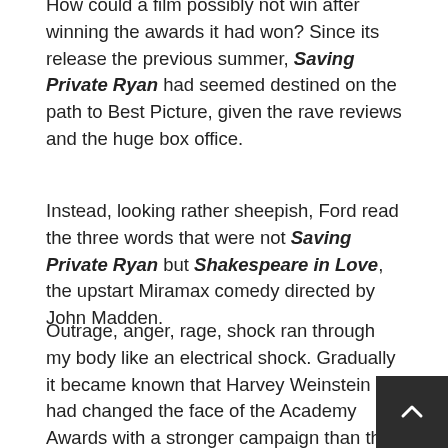How could a film possibly not win after winning the awards it had won? Since its release the previous summer, Saving Private Ryan had seemed destined on the path to Best Picture, given the rave reviews and the huge box office.
Instead, looking rather sheepish, Ford read the three words that were not Saving Private Ryan but Shakespeare in Love, the upstart Miramax comedy directed by John Madden.
Outrage, anger, rage, shock ran through my body like an electrical shock. Gradually it became known that Harvey Weinstein had changed the face of the Academy Awards with a stronger campaign than that of DreamWorks for Saving Private Ryan. Did he buy the Best Picture award? Not exactly but he certainly spent enough to make sure more people saw it. Spielberg believed, perhaps with some arrogance, that his film did not have to campaign as it could win on sheer merit (which it should have) but he was wrong.
Dead wrong.
Holding his second Academy Award for Best Director in five y Spielberg...